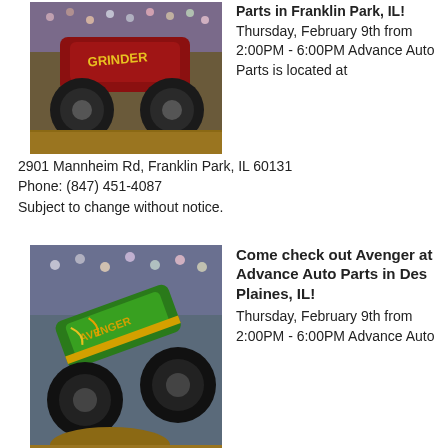[Figure (photo): Monster truck 'Grinder' performing in an arena with crowd in background]
Parts in Franklin Park, IL!
Thursday, February 9th from 2:00PM - 6:00PM
Advance Auto Parts is located at 2901 Mannheim Rd, Franklin Park, IL 60131
Phone: (847) 451-4087
Subject to change without notice.
[Figure (photo): Green monster truck 'Avenger' mid-air performing in an arena with crowd in background]
Come check out Avenger at Advance Auto Parts in Des Plaines, IL!
Thursday, February 9th from 2:00PM - 6:00PM
Advance Auto